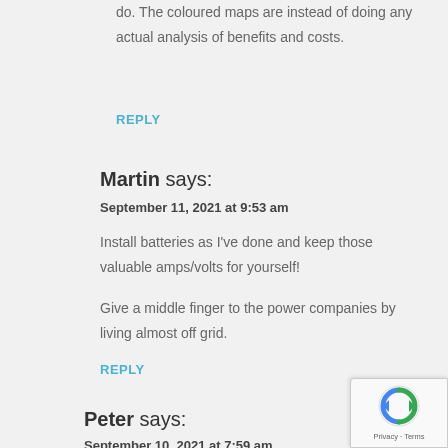do. The coloured maps are instead of doing any actual analysis of benefits and costs.
REPLY
Martin says:
September 11, 2021 at 9:53 am
Install batteries as I've done and keep those valuable amps/volts for yourself!
Give a middle finger to the power companies by living almost off grid.
REPLY
Peter says:
September 10, 2021 at 7:59 am